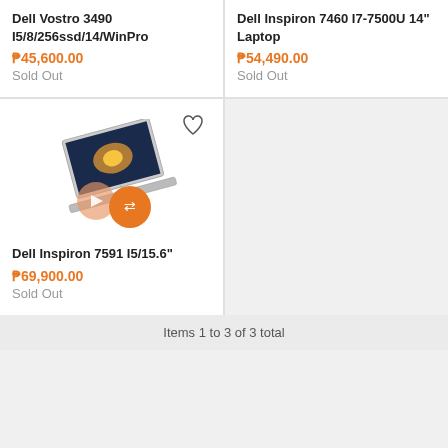Dell Vostro 3490 I5/8/256ssd/14/WinPro
₱45,600.00
Sold Out
Dell Inspiron 7460 I7-7500U 14" Laptop
₱54,490.00
Sold Out
[Figure (photo): Dell Inspiron 7591 laptop product image with play and shuffle buttons overlaid]
Dell Inspiron 7591 I5/15.6"
₱69,900.00
Sold Out
Items 1 to 3 of 3 total